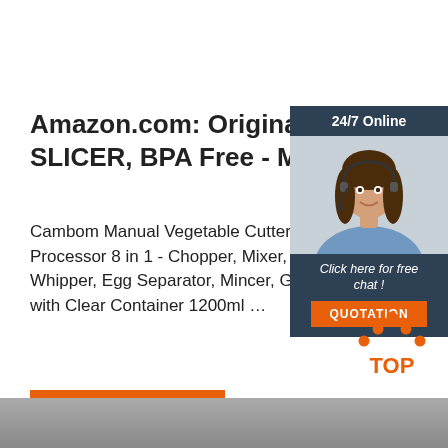Amazon.com: Original MASTE SLICER, BPA Free - Manuel
Cambom Manual Vegetable Cutter Fo Processor 8 in 1 - Chopper, Mixer, Ble Whipper, Egg Separator, Mincer, Grin with Clear Container 1200ml …
[Figure (infographic): Customer service chat widget showing a woman with headset, '24/7 Online' label, 'Click here for free chat!' text, and orange QUOTATION button on dark navy background]
[Figure (logo): TOP logo with orange dots arranged in triangle/chevron shape above the word TOP in orange]
Get Price